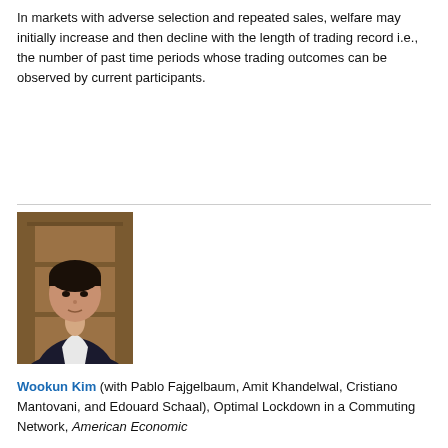In markets with adverse selection and repeated sales, welfare may initially increase and then decline with the length of trading record i.e., the number of past time periods whose trading outcomes can be observed by current participants.
Abstract
[Figure (photo): Headshot photo of a young Asian man in a dark suit jacket and white shirt, standing in front of a wooden door background.]
Wookun Kim (with Pablo Fajgelbaum, Amit Khandelwal, Cristiano Mantovani, and Edouard Schaal), Optimal Lockdown in a Commuting Network, American Economic...